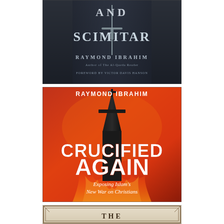[Figure (illustration): Book cover 1 (top): Dark slate background with a sword/scimitar. Text reads 'AND SCIMITAR' in large letters, 'RAYMOND IBRAHIM' below, 'Author of The Al-Qaeda Reader', 'FOREWORD BY VICTOR DAVIS HANSON']
[Figure (illustration): Book cover 2 (middle): Red/orange background with a church steeple and flames. Text reads 'RAYMOND IBRAHIM' at top, 'CRUCIFIED AGAIN' in large bold letters, 'Exposing Islam's New War on Christians' below.]
[Figure (illustration): Book cover 3 (bottom, partially visible): Light beige/tan ornamental border. Text reads 'THE' at bottom center.]